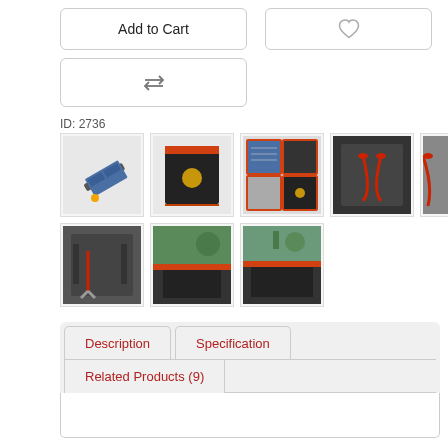Add to Cart
[Figure (other): Wishlist heart icon button]
[Figure (other): Compare arrows icon button]
ID: 2736
[Figure (photo): Solar panel folded at angle on white background]
[Figure (photo): Black solar panel bag with orange logo]
[Figure (photo): Solar panel components/connections grid view]
[Figure (photo): Red cables on dark panel background]
[Figure (photo): Partial view of product]
[Figure (photo): Dark panel with red jumper cables]
[Figure (photo): Solar panel on table with plant in background]
[Figure (photo): Solar panel folded on table with plant in background]
Description
Specification
Related Products (9)